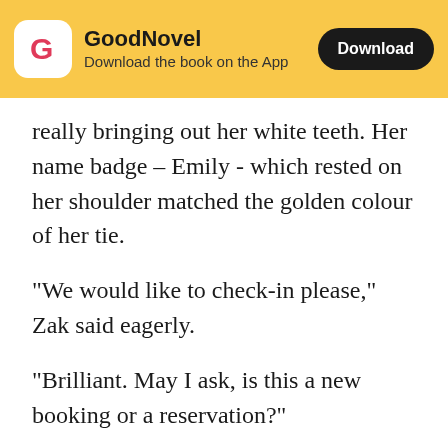[Figure (screenshot): GoodNovel app header banner with logo, app name, subtitle 'Download the book on the App', and a Download button]
really bringing out her white teeth. Her name badge – Emily - which rested on her shoulder matched the golden colour of her tie.
“We would like to check-in please,” Zak said eagerly.
“Brilliant. May I ask, is this a new booking or a reservation?”
“A reservation. Gerard Ramirez reserved us a room here,” Rachel replied.